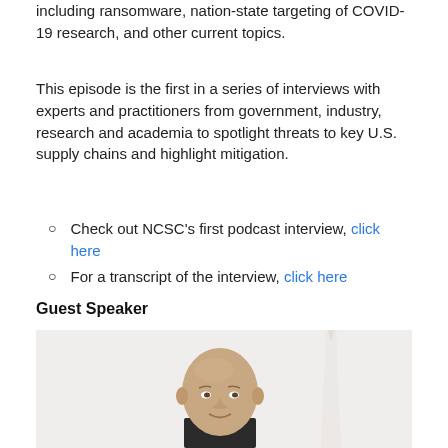including ransomware, nation-state targeting of COVID-19 research, and other current topics.
This episode is the first in a series of interviews with experts and practitioners from government, industry, research and academia to spotlight threats to key U.S. supply chains and highlight mitigation.
Check out NCSC's first podcast interview, click here
For a transcript of the interview, click here
Guest Speaker
[Figure (photo): Headshot of a bald man in a suit, smiling, with the Washington Monument visible in the background.]